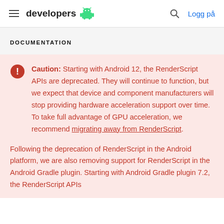developers  Logg på
DOCUMENTATION
Caution: Starting with Android 12, the RenderScript APIs are deprecated. They will continue to function, but we expect that device and component manufacturers will stop providing hardware acceleration support over time. To take full advantage of GPU acceleration, we recommend migrating away from RenderScript.
Following the deprecation of RenderScript in the Android platform, we are also removing support for RenderScript in the Android Gradle plugin. Starting with Android Gradle plugin 7.2, the RenderScript APIs